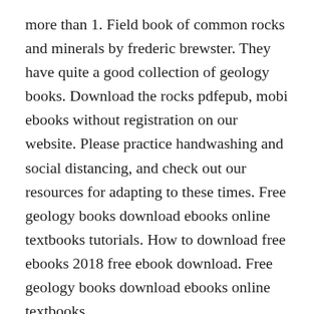more than 1. Field book of common rocks and minerals by frederic brewster. They have quite a good collection of geology books. Download the rocks pdfepub, mobi ebooks without registration on our website. Please practice handwashing and social distancing, and check out our resources for adapting to these times. Free geology books download ebooks online textbooks tutorials. How to download free ebooks 2018 free ebook download. Free geology books download ebooks online textbooks.